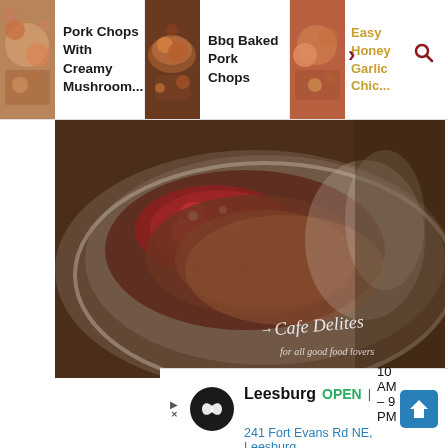[Figure (screenshot): Website screenshot showing food recipe navigation bar with three food items: 'Pork Chops With Creamy Mushroom...' with a pizza-like dish thumbnail, 'Bbq Baked Pork Chops' with a BBQ meat thumbnail, and partially visible 'Easy Honey Garlic Chic...' with a chicken thumbnail and search icon]
[Figure (photo): Main large food photo showing a plated dish (appears to be pork chops with red/tomato topping on a silver plate), with 'Cafe Delites for all good food lovers' watermark in script font at bottom right]
446.6k
[Figure (other): White circular heart/save button]
[Figure (other): Red circular search button with magnifying glass icon]
[Figure (other): Advertisement banner: Leesburg OPEN 10AM-9PM | 241 Fort Evans Rd NE, Leesburg with infinity logo and direction arrow]